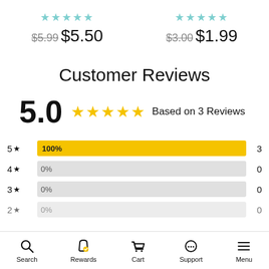★★★★★ $5.99 $5.50
★★★★★ $3.00 $1.99
Customer Reviews
5.0 ★★★★★ Based on 3 Reviews
[Figure (bar-chart): Star rating distribution]
Search  Rewards  Cart  Support  Menu